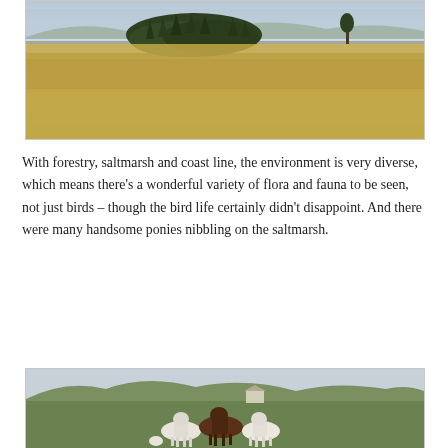[Figure (photo): Landscape photo showing a flat agricultural field with golden/straw-colored grass, a copse of tall dark coniferous trees in the middle distance, a lone tree to the right, and hazy hills in the background under a grey sky.]
With forestry, saltmarsh and coast line, the environment is very diverse, which means there's a wonderful variety of flora and fauna to be seen, not just birds – though the bird life certainly didn't disappoint. And there were many handsome ponies nibbling on the saltmarsh.
[Figure (photo): Landscape photo showing three ponies (two white, one dark brown/bay) standing on a hillside with green rolling hills, farmhouses, and a grey overcast sky in the background.]